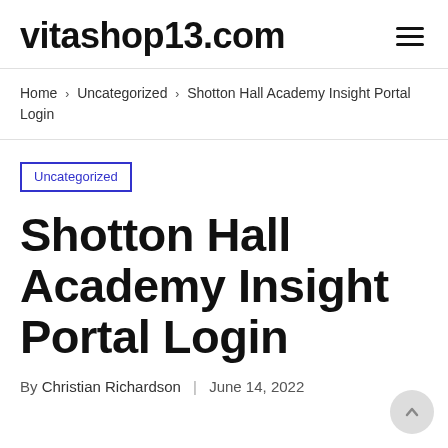vitashop13.com
Home › Uncategorized › Shotton Hall Academy Insight Portal Login
Uncategorized
Shotton Hall Academy Insight Portal Login
By Christian Richardson | June 14, 2022